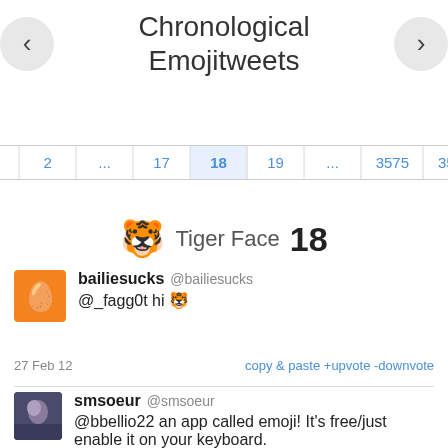Chronological Emojitweets
[Figure (screenshot): Pagination bar with page numbers: 1, 2, ..., 17, 18 (active), 19, ..., 3575, 3576]
🐯 Tiger Face 18
bailiesucks @bailiesucks
@_fagg0t hi 🐯
27 Feb 12    copy & paste +upvote -downvote
smsoeur @smsoeur
@bbellio22 an app called emoji! It's free/just enable it on your keyboard.